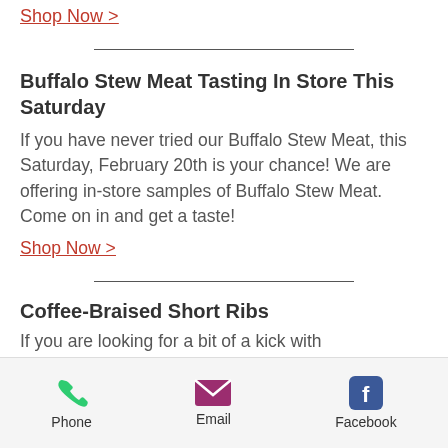Shop Now >
Buffalo Stew Meat Tasting In Store This Saturday
If you have never tried our Buffalo Stew Meat, this Saturday, February 20th is your chance! We are offering in-store samples of Buffalo Stew Meat. Come on in and get a taste!
Shop Now >
Coffee-Braised Short Ribs
If you are looking for a bit of a kick with
Phone   Email   Facebook